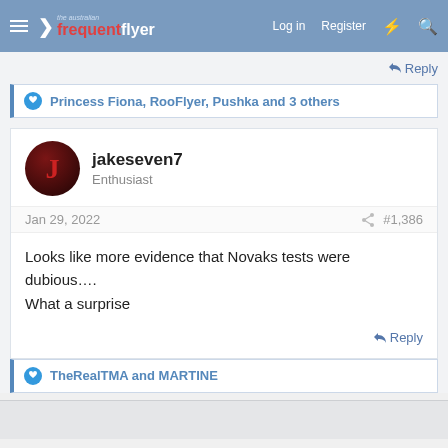the australian frequent flyer | Log in | Register
Reply
Princess Fiona, RooFlyer, Pushka and 3 others
jakeseven7
Enthusiast
Jan 29, 2022
#1,386
Looks like more evidence that Novaks tests were dubious….
What a surprise
Reply
TheRealTMA and MARTINE